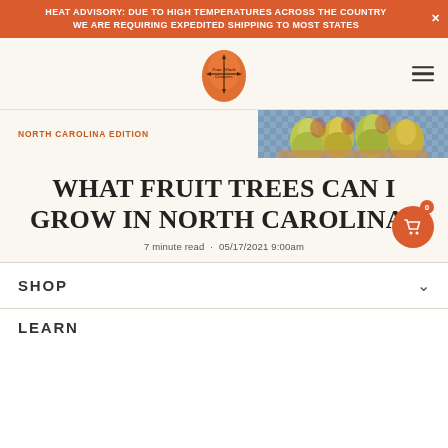HEAT ADVISORY: DUE TO HIGH TEMPERATURES ACROSS THE COUNTRY WE ARE REQUIRING EXPEDITED SHIPPING TO MOST STATES
[Figure (logo): Four Winds Growers logo — orange teardrop shape with compass arrows and script text]
NORTH CAROLINA EDITION
[Figure (photo): Basket of pears on blue-checked cloth background]
WHAT FRUIT TREES CAN I GROW IN NORTH CAROLINA?
7 minute read · 05/17/2021 9:00am
SHOP
LEARN